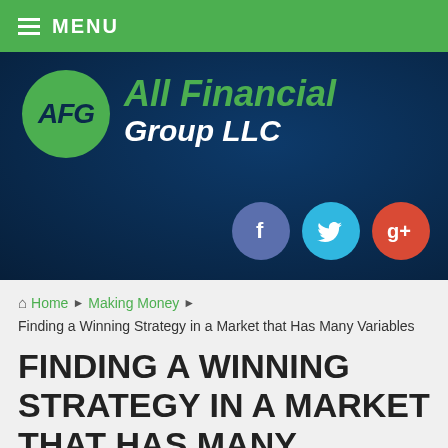MENU
[Figure (logo): All Financial Group LLC logo with AFG circle emblem in green on dark navy background with social media icons for Facebook, Twitter, and Google+]
Home › Making Money › Finding a Winning Strategy in a Market that Has Many Variables
FINDING A WINNING STRATEGY IN A MARKET THAT HAS MANY VARIABLES